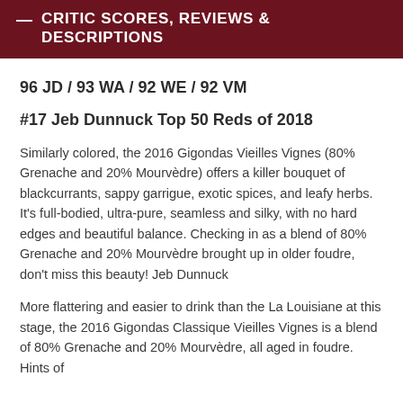— CRITIC SCORES, REVIEWS & DESCRIPTIONS
96 JD / 93 WA / 92 WE / 92 VM
#17 Jeb Dunnuck Top 50 Reds of 2018
Similarly colored, the 2016 Gigondas Vieilles Vignes (80% Grenache and 20% Mourvèdre) offers a killer bouquet of blackcurrants, sappy garrigue, exotic spices, and leafy herbs. It's full-bodied, ultra-pure, seamless and silky, with no hard edges and beautiful balance. Checking in as a blend of 80% Grenache and 20% Mourvèdre brought up in older foudre, don't miss this beauty! Jeb Dunnuck
More flattering and easier to drink than the La Louisiane at this stage, the 2016 Gigondas Classique Vieilles Vignes is a blend of 80% Grenache and 20% Mourvèdre, all aged in foudre. Hints of